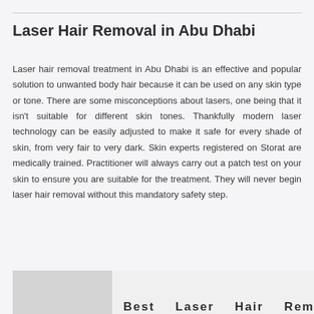Laser Hair Removal in Abu Dhabi
Laser hair removal treatment in Abu Dhabi is an effective and popular solution to unwanted body hair because it can be used on any skin type or tone. There are some misconceptions about lasers, one being that it isn't suitable for different skin tones. Thankfully modern laser technology can be easily adjusted to make it safe for every shade of skin, from very fair to very dark. Skin experts registered on Storat are medically trained. Practitioner will always carry out a patch test on your skin to ensure you are suitable for the treatment. They will never begin laser hair removal without this mandatory safety step.
[Figure (photo): Bottom strip showing a photo placeholder on the left and bold text 'Best Laser Hair Removal' on the right]